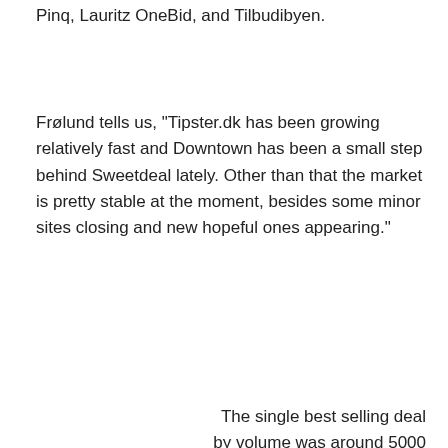Pinq, Lauritz OneBid, and Tilbudibyen.
Frølund tells us, "Tipster.dk has been growing relatively fast and Downtown has been a small step behind Sweetdeal lately. Other than that the market is pretty stable at the moment, besides some minor sites closing and new hopeful ones appearing."
The single best selling deal by volume was around 5000
We use cookies on our website to give you the most relevant experience by remembering your preferences and repeat visits. By clicking "Accept All", you consent to the use of ALL the cookies. However, you may visit "Cookie Settings" to provide a controlled consent.